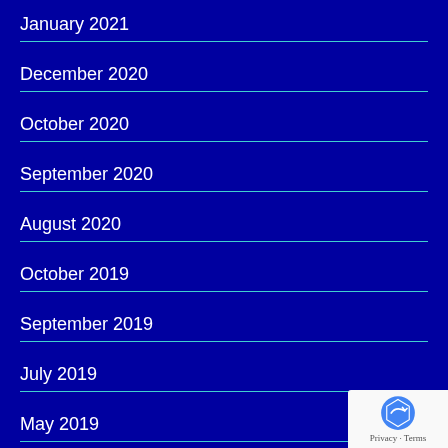January 2021
December 2020
October 2020
September 2020
August 2020
October 2019
September 2019
July 2019
May 2019
April 2019
February 2019